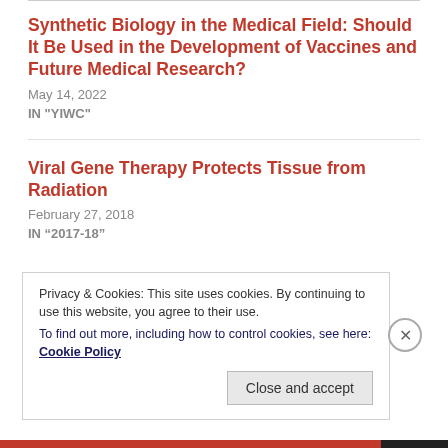Synthetic Biology in the Medical Field: Should It Be Used in the Development of Vaccines and Future Medical Research?
May 14, 2022
IN "YIWC"
Viral Gene Therapy Protects Tissue from Radiation
February 27, 2018
IN “2017-18”
Privacy & Cookies: This site uses cookies. By continuing to use this website, you agree to their use.
To find out more, including how to control cookies, see here: Cookie Policy
Close and accept